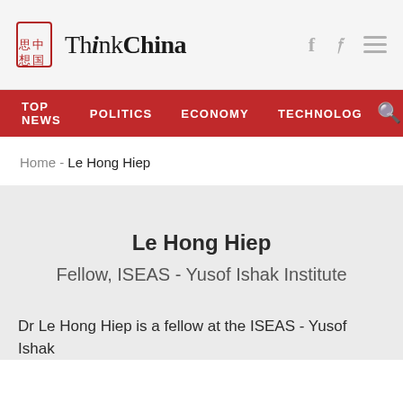ThinkChina
TOP NEWS | POLITICS | ECONOMY | TECHNOLOG
Home - Le Hong Hiep
Le Hong Hiep
Fellow, ISEAS - Yusof Ishak Institute
Dr Le Hong Hiep is a fellow at the ISEAS - Yusof Ishak